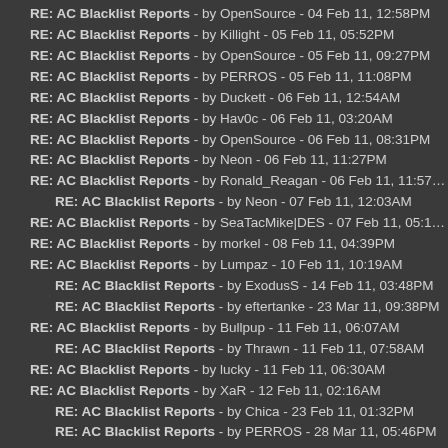RE: AC Blacklist Reports - by OpenSource - 04 Feb 11, 12:58PM
RE: AC Blacklist Reports - by Killight - 05 Feb 11, 05:52PM
RE: AC Blacklist Reports - by OpenSource - 05 Feb 11, 09:27PM
RE: AC Blacklist Reports - by PERROS - 05 Feb 11, 11:08PM
RE: AC Blacklist Reports - by Duckett - 06 Feb 11, 12:54AM
RE: AC Blacklist Reports - by Hav0c - 06 Feb 11, 03:20AM
RE: AC Blacklist Reports - by OpenSource - 06 Feb 11, 08:31PM
RE: AC Blacklist Reports - by Neon - 06 Feb 11, 11:27PM
RE: AC Blacklist Reports - by Ronald_Reagan - 06 Feb 11, 11:57PM
RE: AC Blacklist Reports - by Neon - 07 Feb 11, 12:03AM (indent)
RE: AC Blacklist Reports - by SeaTacMike|DES - 07 Feb 11, 05:19AM
RE: AC Blacklist Reports - by morkel - 08 Feb 11, 04:39PM
RE: AC Blacklist Reports - by Lumpaz - 10 Feb 11, 10:19AM
RE: AC Blacklist Reports - by ExodusS - 14 Feb 11, 03:48PM (indent)
RE: AC Blacklist Reports - by eftertanke - 23 Mar 11, 09:38PM (indent)
RE: AC Blacklist Reports - by Bullpup - 11 Feb 11, 06:07AM
RE: AC Blacklist Reports - by Thrawn - 11 Feb 11, 07:58AM (indent)
RE: AC Blacklist Reports - by lucky - 11 Feb 11, 06:30AM
RE: AC Blacklist Reports - by XaR - 12 Feb 11, 02:16AM
RE: AC Blacklist Reports - by Chica - 23 Feb 11, 01:32PM (indent)
RE: AC Blacklist Reports - by PERROS - 28 Mar 11, 05:46PM (indent)
RE: AC Blacklist Reports - by DeafieGamer - 12 Feb 11, 04:30AM
RE: AC Blacklist Reports - by titiPT - 12 Feb 11, 11:08AM
RE: AC Blacklist Reports - by eftertanke - 13 Feb 11, 04:11AM
RE: AC Blacklist Reports - by ... (cut off)